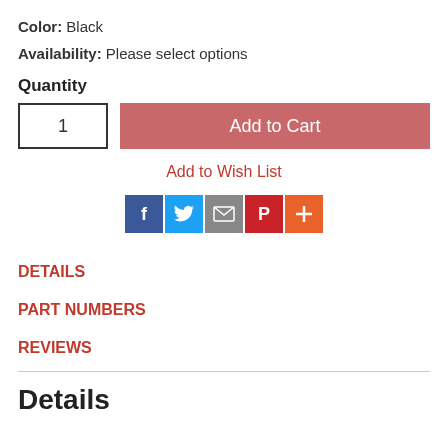Color:  Black
Availability: Please select options
Quantity
1
Add to Cart
Add to Wish List
[Figure (other): Social sharing icons: Facebook (blue), Twitter (light blue), Email (grey), Pinterest (red), More/Plus (orange)]
DETAILS
PART NUMBERS
REVIEWS
Details